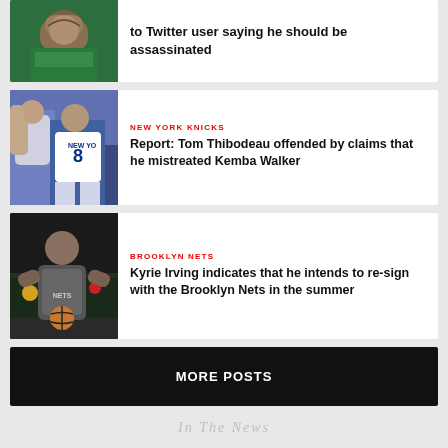[Figure (photo): Basketball player in green Celtics jersey]
to Twitter user saying he should be assassinated
[Figure (photo): New York Knicks basketball players, player number 8]
NEW YORK KNICKS
Report: Tom Thibodeau offended by claims that he mistreated Kemba Walker
[Figure (photo): Brooklyn Nets player dribbling basketball]
BROOKLYN NETS
Kyrie Irving indicates that he intends to re-sign with the Brooklyn Nets in the summer
MORE POSTS
In The News